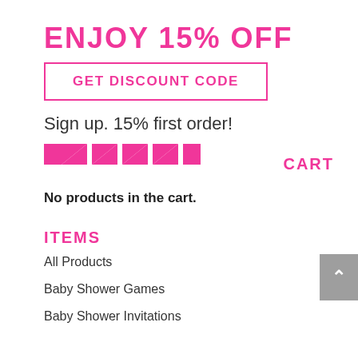ENJOY 15% OFF
GET DISCOUNT CODE
Sign up. 15% first order!
[Figure (illustration): Row of pink geometric triangle/chevron shapes forming a decorative divider banner]
CART
No products in the cart.
ITEMS
All Products
Baby Shower Games
Baby Shower Invitations